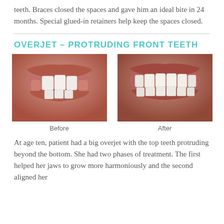teeth. Braces closed the spaces and gave him an ideal bite in 24 months. Special glued-in retainers help keep the spaces closed.
OVERJET – PROTRUDING FRONT TEETH
[Figure (photo): Before and after dental photos showing overjet correction. Left photo labeled 'Before' shows protruding top front teeth. Right photo labeled 'After' shows aligned teeth post-treatment.]
At age ten, patient had a big overjet with the top teeth protruding beyond the bottom. She had two phases of treatment. The first helped her jaws to grow more harmoniously and the second aligned her teeth and bite. At age 13, braces successfully aligned her